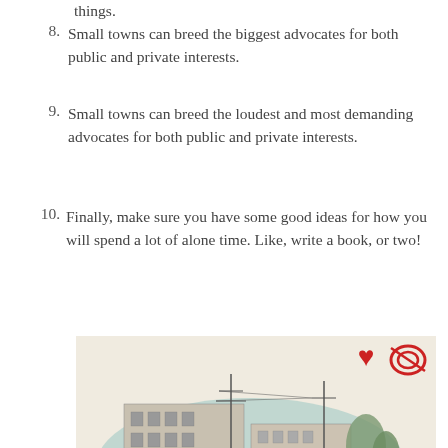things.
8. Small towns can breed the biggest advocates for both public and private interests.
9. Small towns can breed the loudest and most demanding advocates for both public and private interests.
10. Finally, make sure you have some good ideas for how you will spend a lot of alone time. Like, write a book, or two!
[Figure (photo): Vintage postcard-style image showing an old multi-story building with a teal oval vignette border. A red heart and a red stylized CO logo appear in the upper right corner.]